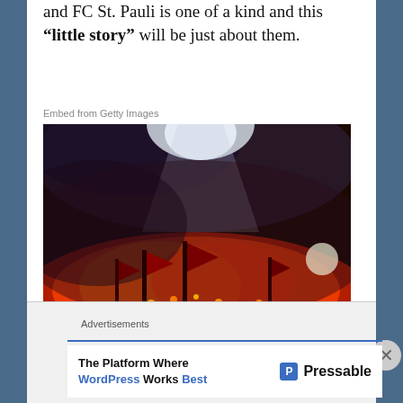and FC St. Pauli is one of a kind and this “little story” will be just about them.
Embed from Getty Images
[Figure (photo): Football fans waving red flags with red smoke/flares at night, dramatic lighting. Getty Images watermark with credit: Bongarts | Martin Rose]
FC St. Pauli has never been victorious club and